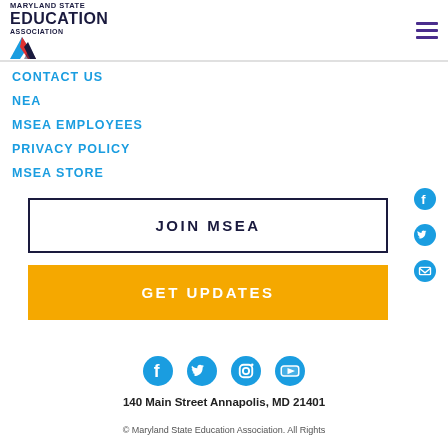[Figure (logo): Maryland State Education Association logo with colorful N icon]
CONTACT US
NEA
MSEA EMPLOYEES
PRIVACY POLICY
MSEA STORE
JOIN MSEA
GET UPDATES
140 Main Street Annapolis, MD 21401
© Maryland State Education Association. All Rights